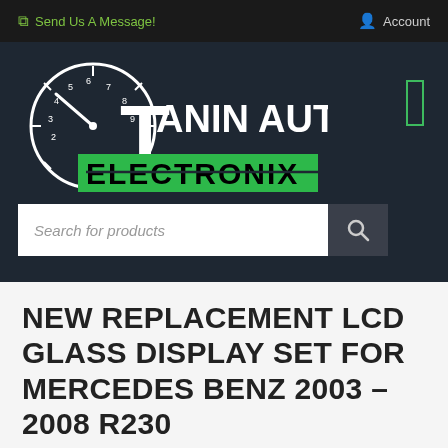Send Us A Message!   Account
[Figure (logo): Tanin Auto Electronix logo with speedometer clock graphic and green ELECTRONIX text]
Search for products
NEW REPLACEMENT LCD GLASS DISPLAY SET FOR MERCEDES BENZ 2003 – 2008 R230